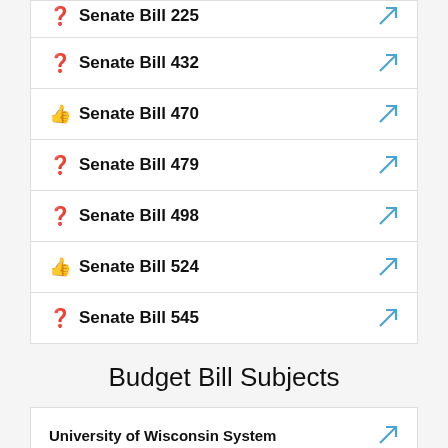Senate Bill 225
Senate Bill 432
Senate Bill 470
Senate Bill 479
Senate Bill 498
Senate Bill 524
Senate Bill 545
Budget Bill Subjects
University of Wisconsin System